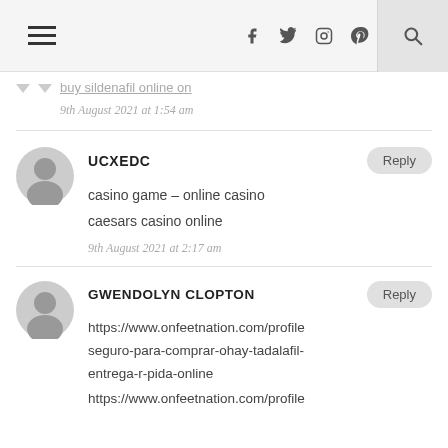Navigation bar with hamburger menu, social icons (Facebook, Twitter, Instagram, Pinterest), and search
buy sildenafil online on
9th August 2021 at 1:54 am
UCXEDC
casino game – online casino
caesars casino online
9th August 2021 at 2:17 am
GWENDOLYN CLOPTON
https://www.onfeetnation.com/profile seguro-para-comprar-ohay-tadalafil-entrega-r-pida-online
https://www.onfeetnation.com/profile